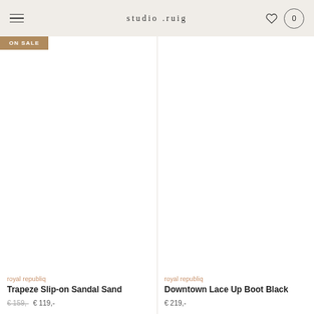studio.ruig
[Figure (photo): Product image area for Trapeze Slip-on Sandal Sand with ON SALE badge]
royal republiq
Trapeze Slip-on Sandal Sand
€ 159,- € 119,-
[Figure (photo): Product image area for Downtown Lace Up Boot Black]
royal republiq
Downtown Lace Up Boot Black
€ 219,-